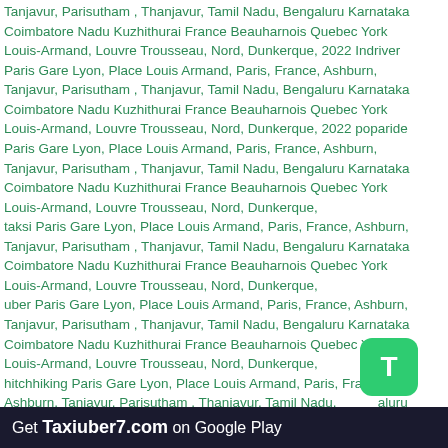Tanjavur, Parisutham , Thanjavur, Tamil Nadu, Bengaluru Karnataka Coimbatore Nadu Kuzhithurai France Beauharnois Quebec York Louis-Armand, Louvre Trousseau, Nord, Dunkerque, 2022 Indriver Paris Gare Lyon, Place Louis Armand, Paris, France, Ashburn, Tanjavur, Parisutham , Thanjavur, Tamil Nadu, Bengaluru Karnataka Coimbatore Nadu Kuzhithurai France Beauharnois Quebec York Louis-Armand, Louvre Trousseau, Nord, Dunkerque, 2022 poparide Paris Gare Lyon, Place Louis Armand, Paris, France, Ashburn, Tanjavur, Parisutham , Thanjavur, Tamil Nadu, Bengaluru Karnataka Coimbatore Nadu Kuzhithurai France Beauharnois Quebec York Louis-Armand, Louvre Trousseau, Nord, Dunkerque, taksi Paris Gare Lyon, Place Louis Armand, Paris, France, Ashburn, Tanjavur, Parisutham , Thanjavur, Tamil Nadu, Bengaluru Karnataka Coimbatore Nadu Kuzhithurai France Beauharnois Quebec York Louis-Armand, Louvre Trousseau, Nord, Dunkerque, uber Paris Gare Lyon, Place Louis Armand, Paris, France, Ashburn, Tanjavur, Parisutham , Thanjavur, Tamil Nadu, Bengaluru Karnataka Coimbatore Nadu Kuzhithurai France Beauharnois Quebec York Louis-Armand, Louvre Trousseau, Nord, Dunkerque, hitchhiking Paris Gare Lyon, Place Louis Armand, Paris, France, Ashburn, Tanjavur, Parisutham , Thanjavur, Tamil Nadu Bengaluru Karnataka Coimbatore Nadu Kuzhithurai France Beauharnois Quebec York Louis-Armand, Louvre Trousseau, Nord, Dunkerque, mitfahrgelegenheit Paris Gare Lyon, Place Louis Armand, Paris, Tanjavur, Parisutham , Thanjavur, Tamil Nadu, Bengaluru Karnataka Coimbatore Nadu Kuzhithurai France
[Figure (logo): Green rounded square icon with white letter T]
Get Taxiuber7.com on Google Play